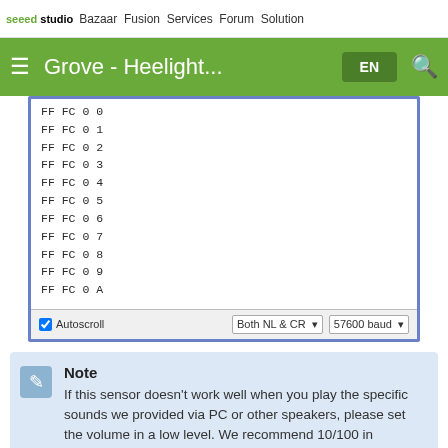seeed studio  Bazaar  Fusion  Services  Forum  Solution
Grove - Heelight...  EN  🔍
[Figure (screenshot): Arduino Serial Monitor window showing lines of hex output: FF FC 0 0, FF FC 0 1, FF FC 0 2, FF FC 0 3, FF FC 0 4, FF FC 0 5, FF FC 0 6, FF FC 0 7, FF FC 0 8, FF FC 0 9, FF FC 0 A. Bottom bar shows Autoscroll checkbox, Both NL & CR dropdown, and 57600 baud dropdown.]
Note
If this sensor doesn't work well when you play the specific sounds we provided via PC or other speakers, please set the volume in a low level. We recommend 10/100 in windows PC.